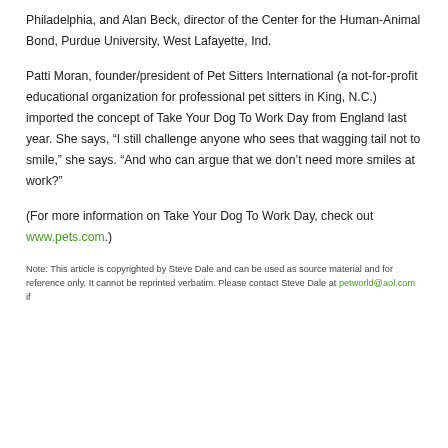Philadelphia, and Alan Beck, director of the Center for the Human-Animal Bond, Purdue University, West Lafayette, Ind.
Patti Moran, founder/president of Pet Sitters International (a not-for-profit educational organization for professional pet sitters in King, N.C.) imported the concept of Take Your Dog To Work Day from England last year. She says, “I still challenge anyone who sees that wagging tail not to smile,” she says. “And who can argue that we don’t need more smiles at work?”
(For more information on Take Your Dog To Work Day, check out www.pets.com.)
Note: This article is copyrighted by Steve Dale and can be used as source material and for reference only. It cannot be reprinted verbatim. Please contact Steve Dale at petworld@aol.com if